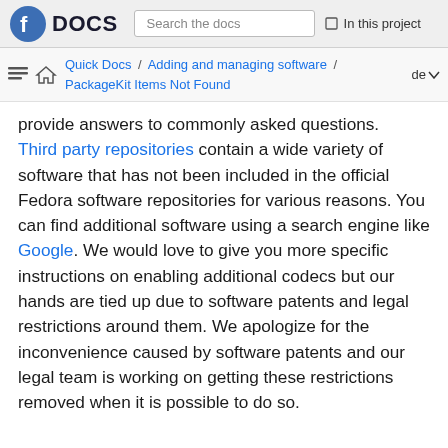Fedora DOCS | Search the docs | In this project
Quick Docs / Adding and managing software / PackageKit Items Not Found | de
provide answers to commonly asked questions. Third party repositories contain a wide variety of software that has not been included in the official Fedora software repositories for various reasons. You can find additional software using a search engine like Google. We would love to give you more specific instructions on enabling additional codecs but our hands are tied up due to software patents and legal restrictions around them. We apologize for the inconvenience caused by software patents and our legal team is working on getting these restrictions removed when it is possible to do so.